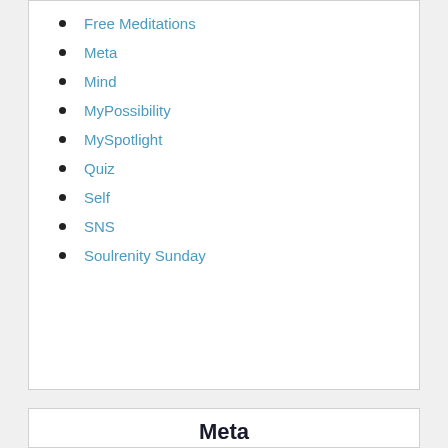Free Meditations
Meta
Mind
MyPossibility
MySpotlight
Quiz
Self
SNS
Soulrenity Sunday
Meta